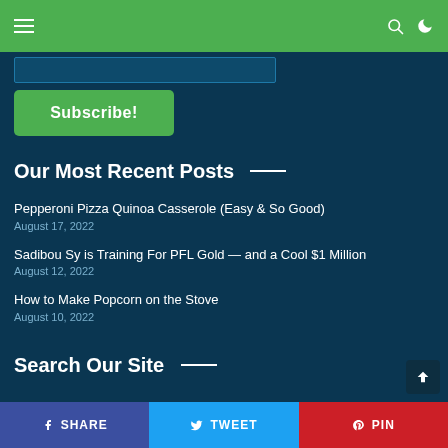Navigation bar with hamburger menu, search icon, and moon icon
Subscribe!
Our Most Recent Posts
Pepperoni Pizza Quinoa Casserole (Easy & So Good)
August 17, 2022
Sadibou Sy is Training For PFL Gold — and a Cool $1 Million
August 12, 2022
How to Make Popcorn on the Stove
August 10, 2022
Search Our Site
SHARE  TWEET  PIN